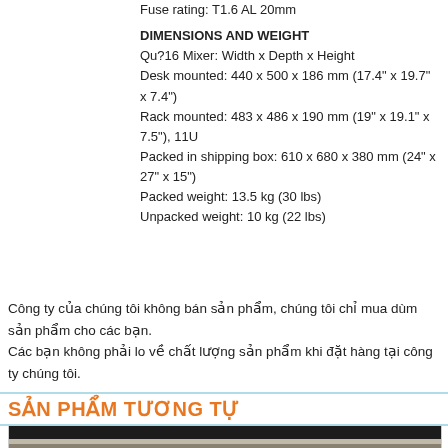Fuse rating: T1.6 AL 20mm
DIMENSIONS AND WEIGHT
Qu?16 Mixer: Width x Depth x Height
Desk mounted: 440 x 500 x 186 mm (17.4" x 19.7" x 7.4")
Rack mounted: 483 x 486 x 190 mm (19" x 19.1" x 7.5"), 11U
Packed in shipping box: 610 x 680 x 380 mm (24" x 27" x 15")
Packed weight: 13.5 kg (30 lbs)
Unpacked weight: 10 kg (22 lbs)
Công ty của chúng tôi không bán sản phẩm, chúng tôi chỉ mua dùm sản phẩm cho các bạn.
Các bạn không phải lo về chất lượng sản phẩm khi đặt hàng tại công ty chúng tôi.
SẢN PHẨM TƯƠNG TỰ
[Figure (photo): Photo of a digital mixing console with black body, faders, knobs, display screens, and colorful channel strips at the bottom]